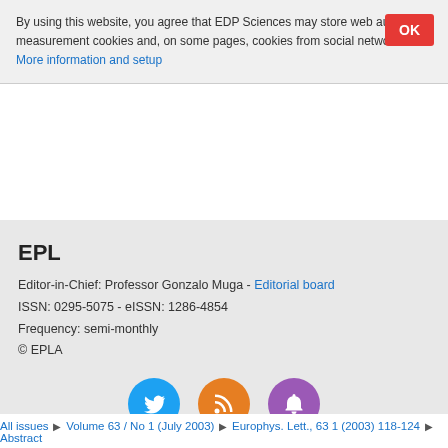By using this website, you agree that EDP Sciences may store web audience measurement cookies and, on some pages, cookies from social networks. More information and setup
EPL
Editor-in-Chief: Professor Gonzalo Muga - Editorial board
ISSN: 0295-5075 - eISSN: 1286-4854
Frequency: semi-monthly
© EPLA
[Figure (infographic): Three circular social media icons: Twitter (blue), RSS (orange), notification bell (purple)]
All issues ▶ Volume 63 / No 1 (July 2003) ▶ Europhys. Lett., 63 1 (2003) 118-124 ▶ Abstract